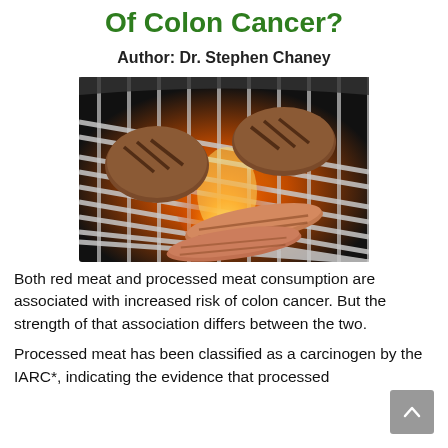Of Colon Cancer?
Author: Dr. Stephen Chaney
[Figure (photo): Hamburger patties and sausages grilling on a barbecue grill with flames visible beneath the grates]
Both red meat and processed meat consumption are associated with increased risk of colon cancer. But the strength of that association differs between the two.
Processed meat has been classified as a carcinogen by the IARC*, indicating the evidence that processed